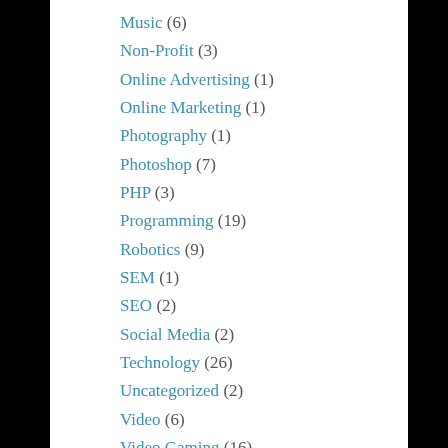Music (6)
Non-Profit (3)
Online Advertising (1)
Online Marketing (1)
Photography (1)
Photoshop (7)
PHP (3)
Programming (19)
Robotics (9)
SEM (1)
SEO (2)
Social Media (2)
Technology (26)
Uncategorized (2)
Video (6)
Video Gaming (16)
Virtual Reality (24)
Web Design (4)